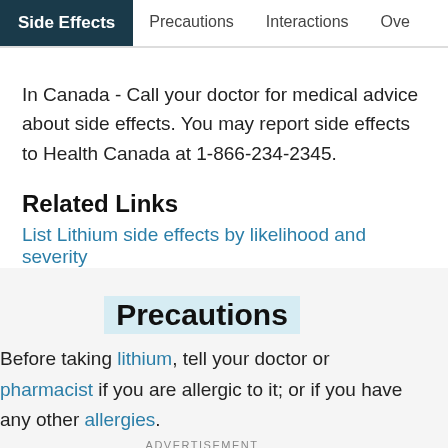Side Effects | Precautions | Interactions | Ove...
In Canada - Call your doctor for medical advice about side effects. You may report side effects to Health Canada at 1-866-234-2345.
Related Links
List Lithium side effects by likelihood and severity
Precautions
Before taking lithium, tell your doctor or pharmacist if you are allergic to it; or if you have any other allergies.
ADVERTISEMENT